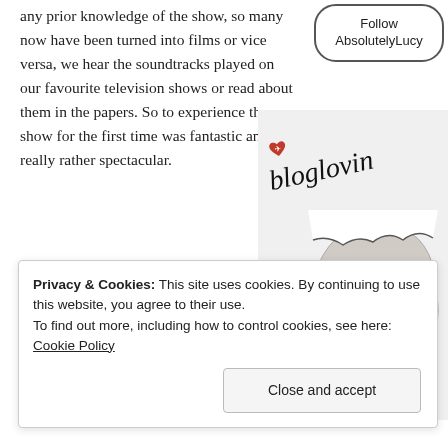any prior knowledge of the show, so many now have been turned into films or vice versa, we hear the soundtracks played on our favourite television shows or read about them in the papers. So to experience the show for the first time was fantastic and really rather spectacular.
[Figure (illustration): Button/widget labeled 'Follow AbsolutelyLucy' in a rounded rectangle border]
[Figure (illustration): Sketch illustration of a woman's face with blue eyes and text 'bloglovin' with a red heart, partially cropped on the right side of the page]
Privacy & Cookies: This site uses cookies. By continuing to use this website, you agree to their use.
To find out more, including how to control cookies, see here: Cookie Policy
Close and accept